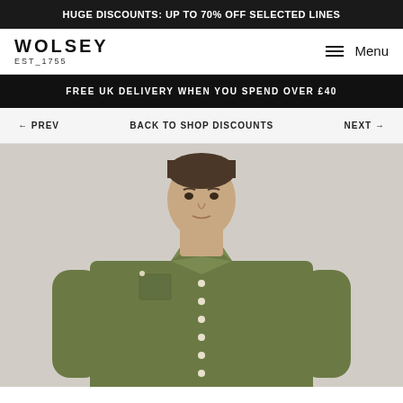HUGE DISCOUNTS: UP TO 70% OFF SELECTED LINES
[Figure (logo): Wolsey EST_1755 logo with hamburger Menu button]
FREE UK DELIVERY WHEN YOU SPEND OVER £40
← PREV   BACK TO SHOP DISCOUNTS   NEXT →
[Figure (photo): Male model wearing an olive green long-sleeve button-down shirt with chest pocket, photographed against a light grey background]